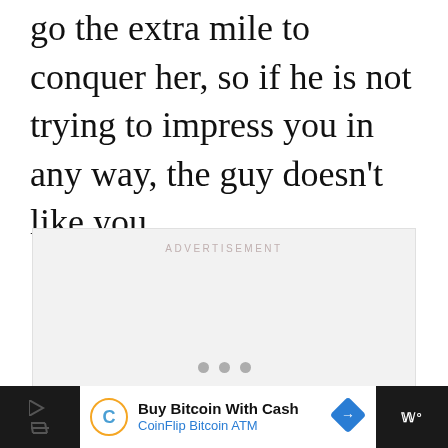go the extra mile to conquer her, so if he is not trying to impress you in any way, the guy doesn't like you.
[Figure (other): Advertisement placeholder box with 'ADVERTISEMENT' label at top and three pagination dots at bottom]
[Figure (other): Bottom advertisement banner: 'Buy Bitcoin With Cash - CoinFlip Bitcoin ATM' with CoinFlip logo and navigation arrow icon]